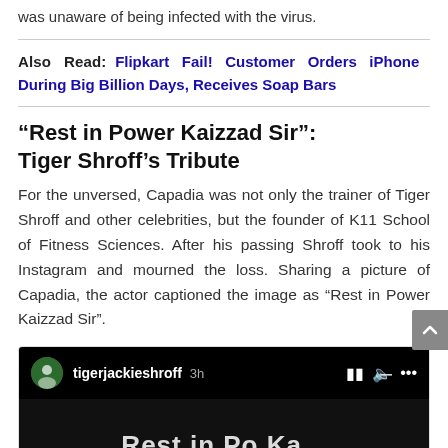was unaware of being infected with the virus.
Also Read: Flipkart Fail! Customer Orders iPhone During Big Billion Days, Receives Soap Bars
“Rest in Power Kaizzad Sir”: Tiger Shroff’s Tribute
For the unversed, Capadia was not only the trainer of Tiger Shroff and other celebrities, but the founder of K11 School of Fitness Sciences. After his passing Shroff took to his Instagram and mourned the loss. Sharing a picture of Capadia, the actor captioned the image as “Rest in Power Kaizzad Sir”.
[Figure (screenshot): Instagram post by tigerjackieshroff showing a video, posted 3h ago, with playback controls visible and partial white text on dark background showing 'Rest in Power Kai...']